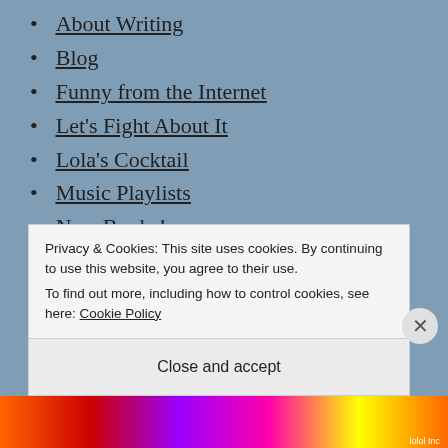About Writing
Blog
Funny from the Internet
Let's Fight About It
Lola's Cocktail
Music Playlists
New Books!
Nostalgia
Smut We're Reading
We Need to Talk...
Privacy & Cookies: This site uses cookies. By continuing to use this website, you agree to their use.
To find out more, including how to control cookies, see here: Cookie Policy
Close and accept